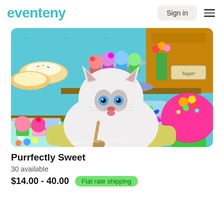eventeny   Sign in
[Figure (photo): A white fluffy kitten with blue eyes sitting in a tub surrounded by colorful cupcakes, candies, macarons, donuts, and other sweets in a candy shop setting. The cat holds a spoon and is licking its lips.]
Purrfectly Sweet
30 available
$14.00 - 40.00  Flat rate shipping